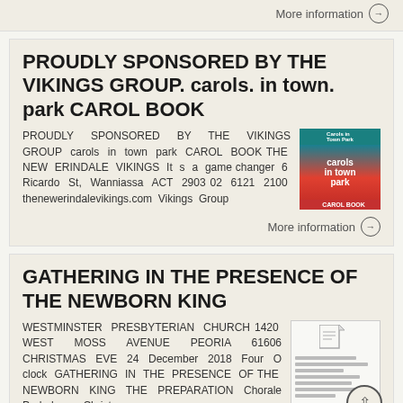More information →
PROUDLY SPONSORED BY THE VIKINGS GROUP. carols. in town. park CAROL BOOK
PROUDLY SPONSORED BY THE VIKINGS GROUP carols in town park CAROL BOOK THE NEW ERINDALE VIKINGS It s a game changer 6 Ricardo St, Wanniassa ACT 2903 02 6121 2100 thenewerindalevikings.com Vikings Group
[Figure (photo): Carol Book image showing Carols in Town Park text with blue and red design]
More information →
GATHERING IN THE PRESENCE OF THE NEWBORN KING
WESTMINSTER PRESBYTERIAN CHURCH 1420 WEST MOSS AVENUE PEORIA 61606 CHRISTMAS EVE 24 December 2018 Four O clock GATHERING IN THE PRESENCE OF THE NEWBORN KING THE PREPARATION Chorale Preludes on Christmas
[Figure (screenshot): Document/flyer image for Westminster Presbyterian Church event]